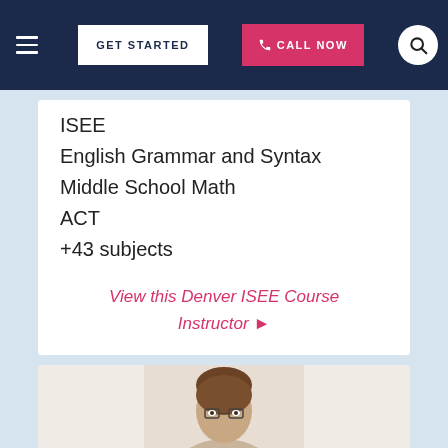GET STARTED | CALL NOW
ISEE
English Grammar and Syntax
Middle School Math
ACT
+43 subjects
View this Denver ISEE Course Instructor ▶
[Figure (photo): Photo of a male instructor with brown hair and glasses, shown from the shoulders up against a light background]